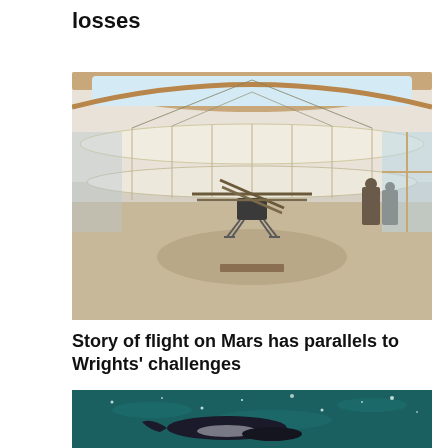losses
[Figure (photo): Indoor exhibit showing a Mars Ingenuity helicopter model displayed beneath the wings of a large early aircraft replica inside a museum or visitor center with large windows and wooden structure.]
Story of flight on Mars has parallels to Wrights' challenges
[Figure (photo): Aerial view of dark ocean water with sunlight reflections and what appears to be a whale or marine animal near the surface.]